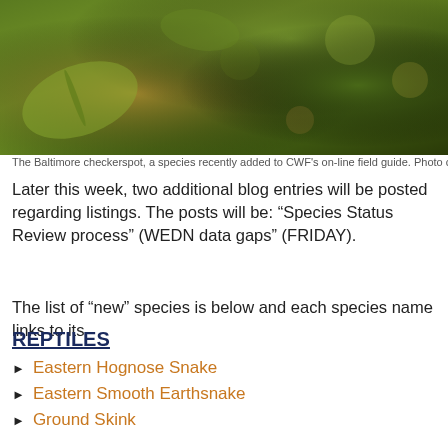[Figure (photo): Green nature photo banner showing leaves and bokeh background, Baltimore checkerspot butterfly habitat]
The Baltimore checkerspot, a species recently added to CWF's on-line field guide. Photo c
Later this week, two additional blog entries will be posted regarding listings. The posts will be: “Species Status Review process” (WEDN data gaps” (FRIDAY).
The list of “new” species is below and each species name links to its
REPTILES
Eastern Hognose Snake
Eastern Smooth Earthsnake
Ground Skink
Rough Green Snake
Scarlet Snake
Smooth Green Snake
AMPHIBIANS
Eastern Spadefoot
New Jersey Chorus Frog
Northern Cricket Frog